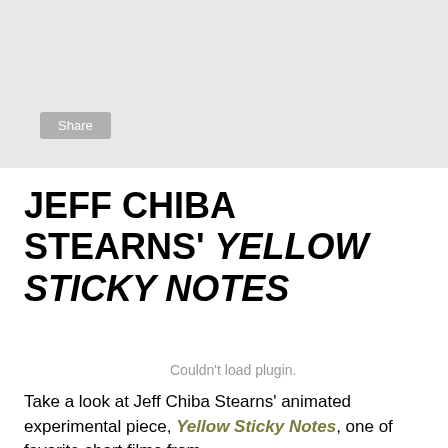[Figure (screenshot): Gray header bar with a Share button]
JEFF CHIBA STEARNS' YELLOW STICKY NOTES
Couldn't load plugin.
Take a look at Jeff Chiba Stearns' animated experimental piece, Yellow Sticky Notes, one of favorite short films from